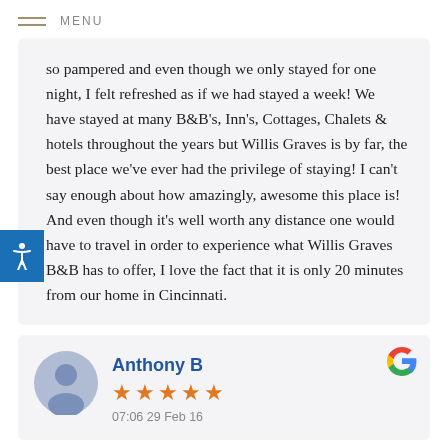MENU
so pampered and even though we only stayed for one night, I felt refreshed as if we had stayed a week! We have stayed at many B&B's, Inn's, Cottages, Chalets & hotels throughout the years but Willis Graves is by far, the best place we've ever had the privilege of staying! I can't say enough about how amazingly, awesome this place is! And even though it's well worth any distance one would have to travel in order to experience what Willis Graves B&B has to offer, I love the fact that it is only 20 minutes from our home in Cincinnati.
Anthony B
07:06 29 Feb 16
Google review — 5 stars